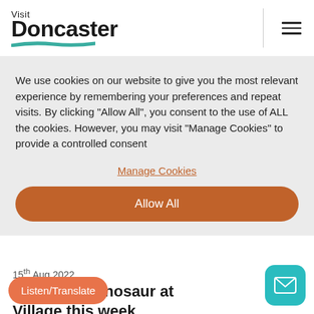Visit Doncaster
We use cookies on our website to give you the most relevant experience by remembering your preferences and repeat visits. By clicking "Allow All", you consent to the use of ALL the cookies. However, you may visit "Manage Cookies" to provide a controlled consent
Manage Cookies
Allow All
15th Aug 2022
Enjoy The Good Dinosaur at Bentley Village this week